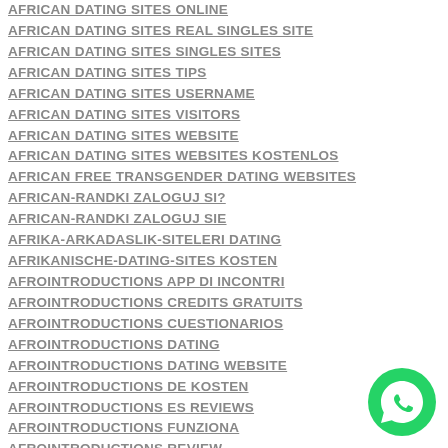AFRICAN DATING SITES ONLINE
AFRICAN DATING SITES REAL SINGLES SITE
AFRICAN DATING SITES SINGLES SITES
AFRICAN DATING SITES TIPS
AFRICAN DATING SITES USERNAME
AFRICAN DATING SITES VISITORS
AFRICAN DATING SITES WEBSITE
AFRICAN DATING SITES WEBSITES KOSTENLOS
AFRICAN FREE TRANSGENDER DATING WEBSITES
AFRICAN-RANDKI ZALOGUJ SI?
AFRICAN-RANDKI ZALOGUJ SIE
AFRIKA-ARKADASLIK-SITELERI DATING
AFRIKANISCHE-DATING-SITES KOSTEN
AFROINTRODUCTIONS APP DI INCONTRI
AFROINTRODUCTIONS CREDITS GRATUITS
AFROINTRODUCTIONS CUESTIONARIOS
AFROINTRODUCTIONS DATING
AFROINTRODUCTIONS DATING WEBSITE
AFROINTRODUCTIONS DE KOSTEN
AFROINTRODUCTIONS ES REVIEWS
AFROINTRODUCTIONS FUNZIONA
AFROINTRODUCTIONS REVIEW
[Figure (logo): WhatsApp green circular chat button icon in bottom right corner]